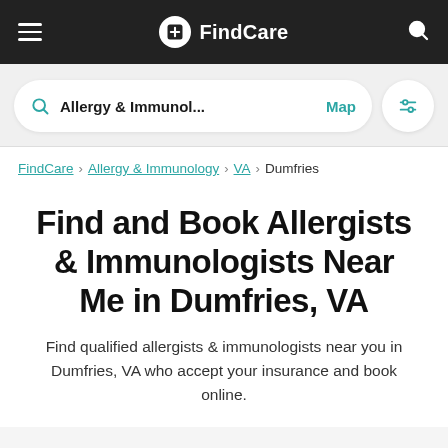FindCare
Allergy & Immunol...  Map
FindCare › Allergy & Immunology › VA › Dumfries
Find and Book Allergists & Immunologists Near Me in Dumfries, VA
Find qualified allergists & immunologists near you in Dumfries, VA who accept your insurance and book online.